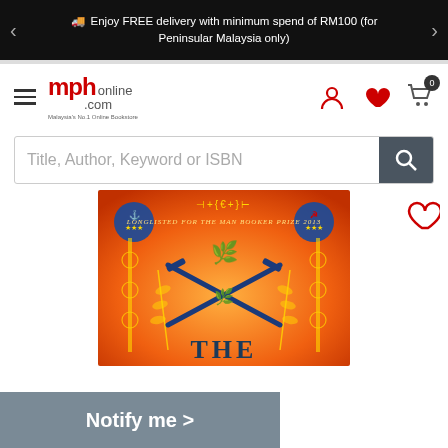Enjoy FREE delivery with minimum spend of RM100 (for Peninsular Malaysia only)
[Figure (logo): MPH Online logo - Malaysia's No.1 Online Bookstore]
Title, Author, Keyword or ISBN
[Figure (photo): Book cover with orange background, crossed rifles, wheat decorations, badges, text 'Longlisted for the Man Booker Prize 2013' and 'THE' at bottom]
Notify me >